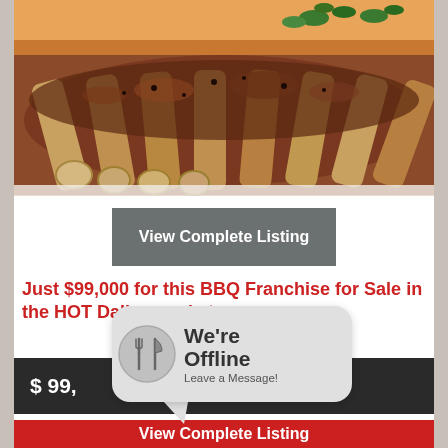[Figure (photo): Close-up photo of BBQ ribs with herbs on a white plate, orange garnish in background]
View Complete Listing
Just $99,000 for this BBQ Franchise for Sale in the HOT Dallas market
$ 99,
[Figure (other): We're Offline - Leave a Message! chat widget with fork and knife icon]
View Complete Listing